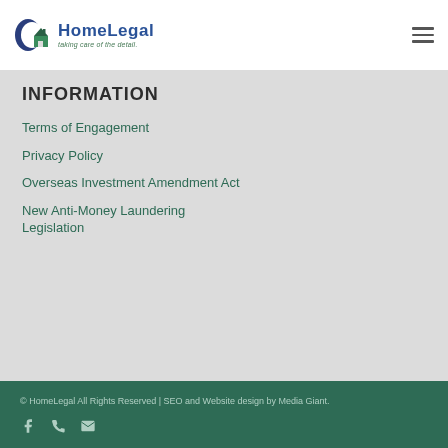[Figure (logo): HomeLegal logo with house icon and tagline 'taking care of the detail.']
INFORMATION
Terms of Engagement
Privacy Policy
Overseas Investment Amendment Act
New Anti-Money Laundering Legislation
© HomeLegal All Rights Reserved | SEO and Website design by Media Giant.